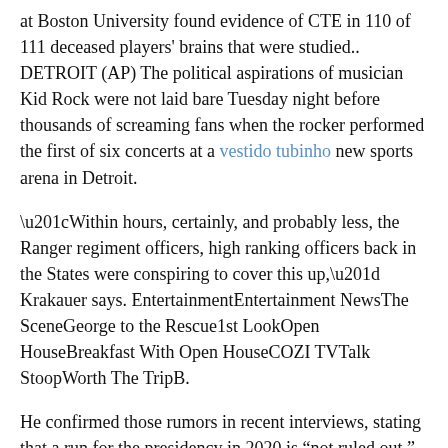at Boston University found evidence of CTE in 110 of 111 deceased players' brains that were studied.. DETROIT (AP) The political aspirations of musician Kid Rock were not laid bare Tuesday night before thousands of screaming fans when the rocker performed the first of six concerts at a vestido tubinho new sports arena in Detroit.
“Within hours, certainly, and probably less, the Ranger regiment officers, high ranking officers back in the States were conspiring to cover this up,” Krakauer says. EntertainmentEntertainment NewsThe SceneGeorge to the Rescue1st LookOpen HouseBreakfast With Open HouseCOZI TVTalk StoopWorth The TripB.
He confirmed those rumors in recent interviews, stating that a run for the presidency in 2020 is “not ruled out.” Shapiro was featured at UC Berkeley, □The post WOW: Ben Shapiro CONFIRMS ‘I Might Run For President 2020’ Liberals Are In FREAK OUT Mode! appeared first on Tea Party.JUST IN: Trump Admin Sends Powerful Message to Seniors, This Hasn Happened In YEARS(Christian News Alert) Seniors who